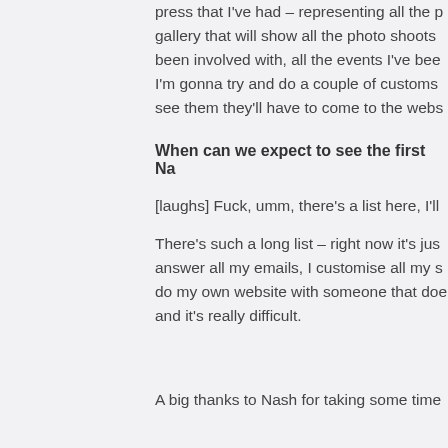press that I've had – representing all the gallery that will show all the photo shoots been involved with, all the events I've been I'm gonna try and do a couple of customs see them they'll have to come to the webs
When can we expect to see the first Na
[laughs] Fuck, umm, there's a list here, I'll
There's such a long list – right now it's jus answer all my emails, I customise all my s do my own website with someone that doe and it's really difficult.
A big thanks to Nash for taking some time